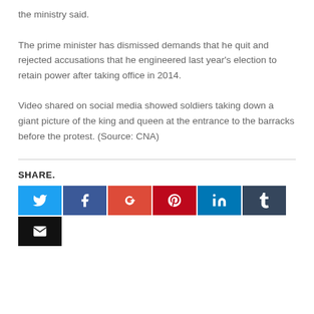the ministry said.
The prime minister has dismissed demands that he quit and rejected accusations that he engineered last year's election to retain power after taking office in 2014.
Video shared on social media showed soldiers taking down a giant picture of the king and queen at the entrance to the barracks before the protest. (Source: CNA)
SHARE.
[Figure (other): Social media share buttons: Twitter, Facebook, Google+, Pinterest, LinkedIn, Tumblr, Email]